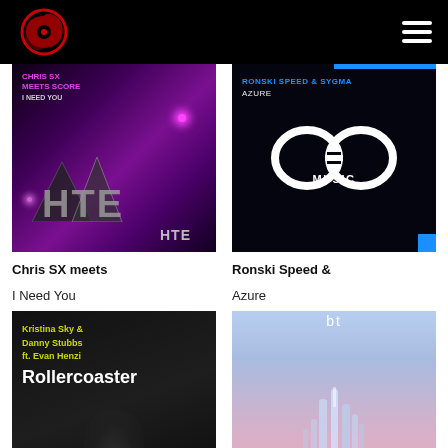Music streaming website header with logo and navigation
[Figure (screenshot): Album art for Chris SX meets Score - I Need You on HTE Records. Dark purple/magenta background with 3D HTE logo text and geometric shapes.]
Chris SX meets
I Need You
[Figure (screenshot): Album art for Ronski Speed & Sygma - Azure. Dark background with GO Music infinity loop logo in white.]
Ronski Speed &
Azure
[Figure (screenshot): Album art for Kristina Sky & Danny Stubbs ft. Evan Henzi - Rollercoaster. Dark background with yellow/green and white text.]
[Figure (screenshot): Album art for BT - unknown title. Blue/pink sky background with crystalline sculpture.]